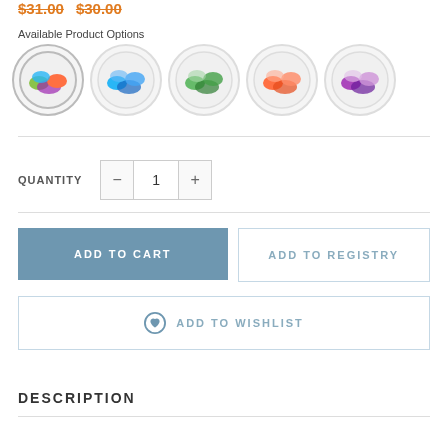$31.00 $30.00
Available Product Options
[Figure (photo): Five circular product option images showing sets of colorful containers: multicolor, blue, green, orange, purple]
QUANTITY  – 1 +
ADD TO CART
ADD TO REGISTRY
ADD TO WISHLIST
DESCRIPTION